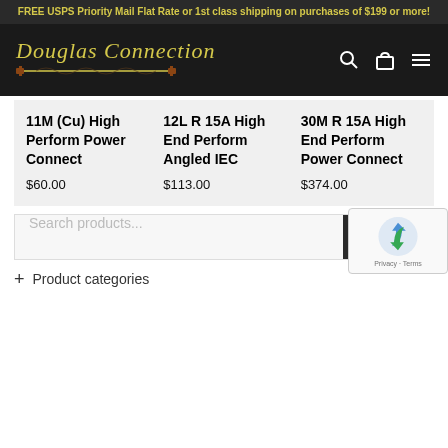FREE USPS Priority Mail Flat Rate or 1st class shipping on purchases of $199 or more!
[Figure (logo): Douglas Connection logo with gold cursive text and decorative rod/line graphic on dark background with search, cart, and menu icons]
11M (Cu) High Perform Power Connect $60.00
12L R 15A High End Perform Angled IEC $113.00
30M R 15A High End Perform Power Connect $374.00
Search products...
Search
+ Product categories